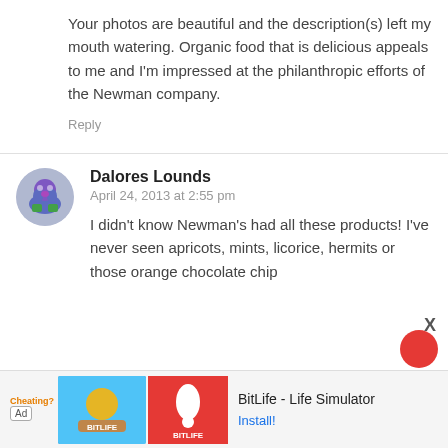Your photos are beautiful and the description(s) left my mouth watering. Organic food that is delicious appeals to me and I'm impressed at the philanthropic efforts of the Newman company.
Reply
Dalores Lounds
April 24, 2013 at 2:55 pm
I didn't know Newman's had all these products! I've never seen apricots, mints, licorice, hermits or those orange chocolate chip
[Figure (screenshot): Ad banner for BitLife - Life Simulator app with logo, red background, and Install button]